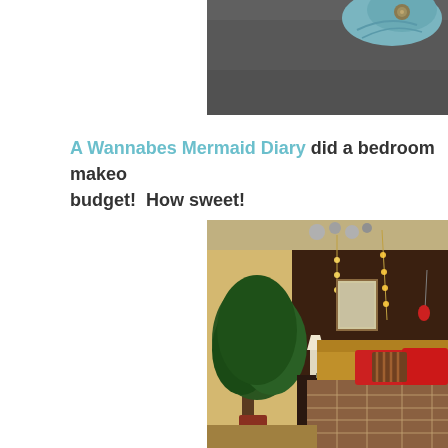[Figure (photo): Top portion of a bedroom photo showing teal/blue decorative pillow or fabric with floral detail, against a dark gray background]
A Wannabes Mermaid Diary did a bedroom makeo... budget!  How sweet!
[Figure (photo): Bedroom makeover photo showing a bed with red pillows and brown/plaid bedspread, a potted tree plant, wall lamp string lights on a dark brown accent wall, and warm-toned walls]